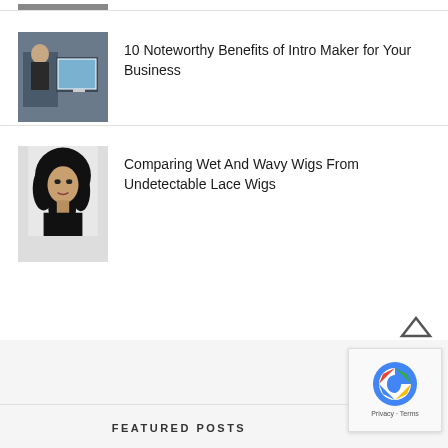[Figure (photo): Thumbnail image partially visible at top (cropped)]
10 Noteworthy Benefits of Intro Maker for Your Business
[Figure (photo): Woman wearing a wet and wavy curly wig against a white background]
Comparing Wet And Wavy Wigs From Undetectable Lace Wigs
FEATURED POSTS
[Figure (logo): reCAPTCHA widget with Google logo and Privacy - Terms text]